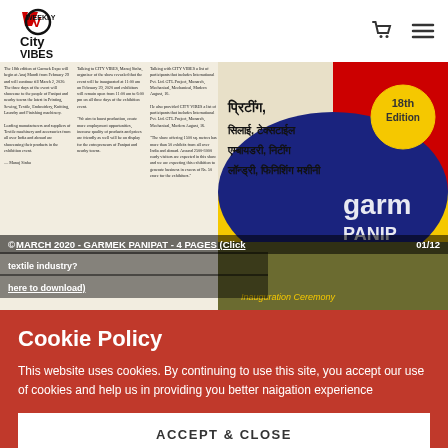City Vibes Weekly - navigation header with cart and menu icons
[Figure (screenshot): Newspaper page showing article about GARMEK PANIPAT 18th Edition textile/garment industry exhibition, with Hindi text poster overlay showing printing, sewing, embroidery, laundry and finishing machinery exhibition. Overlay text: MARCH 2020 - GARMEK PANIPAT - 4 PAGES (Click 01/12 here to download) - textile industry?]
Cookie Policy
This website uses cookies. By continuing to use this site, you accept our use of cookies and help us in providing you better naigation experience
ACCEPT & CLOSE